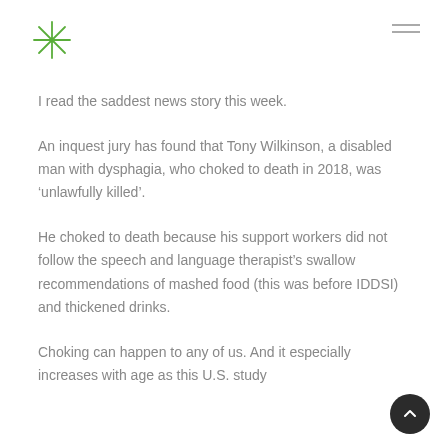Logo and navigation
I read the saddest news story this week.
An inquest jury has found that Tony Wilkinson, a disabled man with dysphagia, who choked to death in 2018, was ‘unlawfully killed’.
He choked to death because his support workers did not follow the speech and language therapist’s swallow recommendations of mashed food (this was before IDDSI) and thickened drinks.
Choking can happen to any of us. And it especially increases with age as this U.S. study